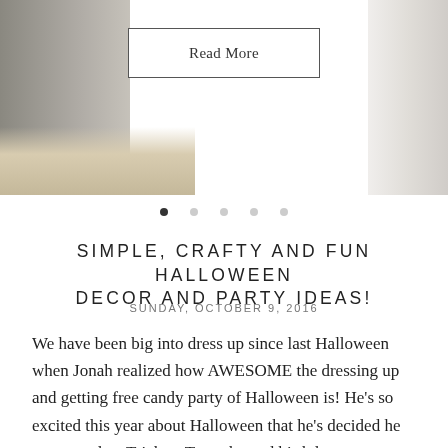[Figure (photo): Blog header image showing a kitchen/home decor scene with a 'Read More' button overlay and carousel dots navigation]
SIMPLE, CRAFTY AND FUN HALLOWEEN DECOR AND PARTY IDEAS!
SUNDAY, OCTOBER 9, 2016
We have been big into dress up since last Halloween when Jonah realized how AWESOME the dressing up and getting free candy party of Halloween is! He's so excited this year about Halloween that he's decided he wants to do a Trick or Treat themed birthday party to celebrate turning five!
What better time in our life to do an...